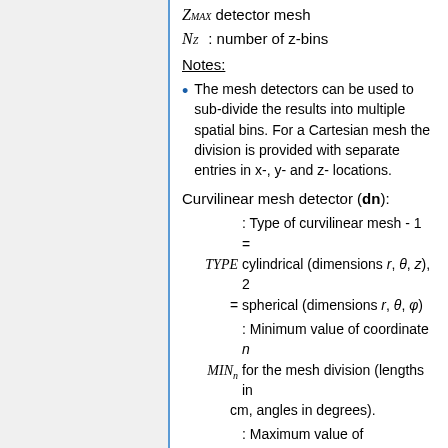Z_MAX detector mesh
N_Z : number of z-bins
Notes:
The mesh detectors can be used to sub-divide the results into multiple spatial bins. For a Cartesian mesh the division is provided with separate entries in x-, y- and z- locations.
Curvilinear mesh detector (dn):
TYPE : Type of curvilinear mesh - 1 = cylindrical (dimensions r, θ, z), 2 = spherical (dimensions r, θ, φ)
MIN_n : Minimum value of coordinate n for the mesh division (lengths in cm, angles in degrees).
MAX_n : Maximum value of coordinate n for the mesh division (lengths in